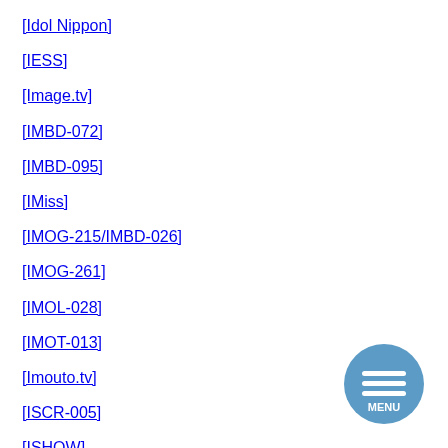[Idol Nippon]
[IESS]
[Image.tv]
[IMBD-072]
[IMBD-095]
[IMiss]
[IMOG-215/IMBD-026]
[IMOG-261]
[IMOL-028]
[IMOT-013]
[Imouto.tv]
[ISCR-005]
[ISHOW]
[Figure (other): Circular blue menu button with three horizontal white lines and MENU text]